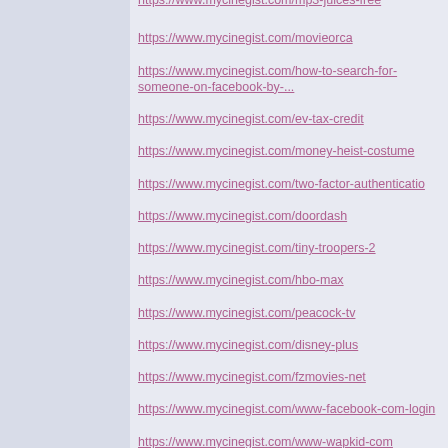https://www.mycinegist.com/mp3-juices-free
https://www.mycinegist.com/movieorca
https://www.mycinegist.com/how-to-search-for-someone-on-facebook-by-...
https://www.mycinegist.com/ev-tax-credit
https://www.mycinegist.com/money-heist-costume
https://www.mycinegist.com/two-factor-authenticatio
https://www.mycinegist.com/doordash
https://www.mycinegist.com/tiny-troopers-2
https://www.mycinegist.com/hbo-max
https://www.mycinegist.com/peacock-tv
https://www.mycinegist.com/disney-plus
https://www.mycinegist.com/fzmovies-net
https://www.mycinegist.com/www-facebook-com-login
https://www.mycinegist.com/www-wapkid-com